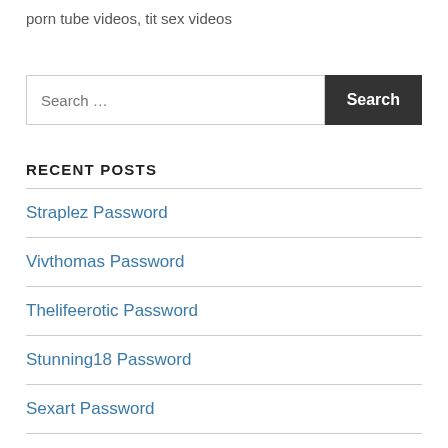porn tube videos, tit sex videos
Search …
RECENT POSTS
Straplez Password
Vivthomas Password
Thelifeerotic Password
Stunning18 Password
Sexart Password
Rvlskvart Password